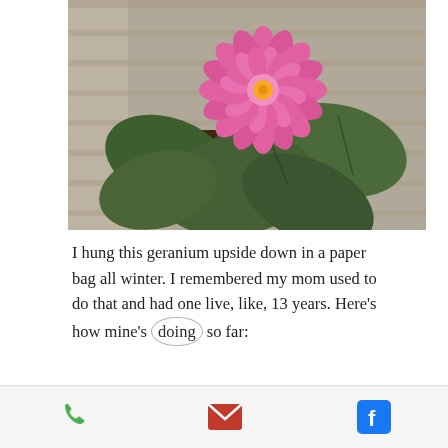[Figure (photo): A pink dahlia flower in full bloom sitting in a dark pot with green leaves, placed on a wooden deck surface. The photo is taken from above.]
I hung this geranium upside down in a paper bag all winter.  I remembered my mom used to do that and had one live, like, 13 years.  Here's how mine's doing so far:
[Figure (other): Mobile app footer bar with phone, email, and Facebook icons]